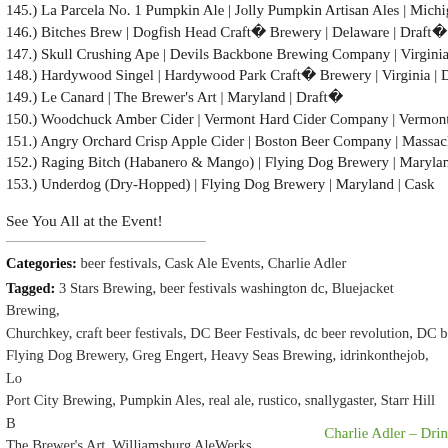145.) La Parcela No. 1 Pumpkin Ale | Jolly Pumpkin Artisan Ales | Michiga…
146.) Bitches Brew | Dogfish Head Craft Brewery | Delaware | Draft
147.) Skull Crushing Ape | Devils Backbone Brewing Company | Virginia | D…
148.) Hardywood Singel | Hardywood Park Craft Brewery | Virginia | Draft
149.) Le Canard | The Brewer's Art | Maryland | Draft
150.) Woodchuck Amber Cider | Vermont Hard Cider Company | Vermont | …
151.) Angry Orchard Crisp Apple Cider | Boston Beer Company | Massachu…
152.) Raging Bitch (Habanero & Mango) | Flying Dog Brewery | Maryland | …
153.) Underdog (Dry-Hopped) | Flying Dog Brewery | Maryland | Cask
See You All at the Event!
Categories: beer festivals, Cask Ale Events, Charlie Adler
Tagged: 3 Stars Brewing, beer festivals washington dc, Bluejacket Brewing, Churchkey, craft beer festivals, DC Beer Festivals, dc beer revolution, DC b…, Flying Dog Brewery, Greg Engert, Heavy Seas Brewing, idrinkonthejob, Lo…, Port City Brewing, Pumpkin Ales, real ale, rustico, snallygaster, Starr Hill B…, The Brewer's Art, Williamsburg AleWerks
Fall Is Tasting Season in DC
October 11th, 2012 • No Comments
Charlie Adler – Drin…